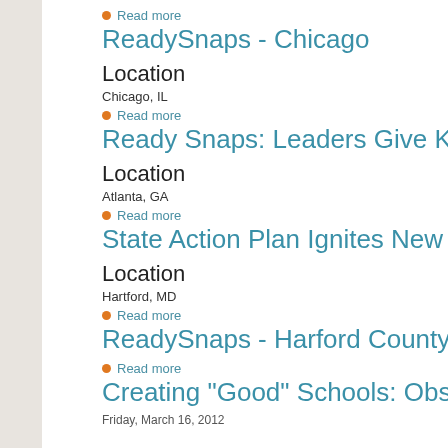Read more
ReadySnaps - Chicago
Location
Chicago, IL
Read more
Ready Snaps: Leaders Give Kids Ne
Location
Atlanta, GA
Read more
State Action Plan Ignites New Goals
Location
Hartford, MD
Read more
ReadySnaps - Harford County, Md.
Read more
Creating "Good" Schools: Observatio
Friday, March 16, 2012